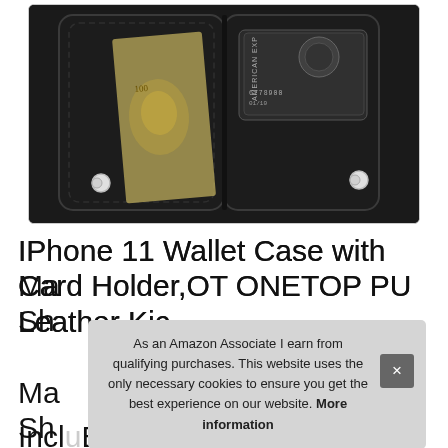[Figure (photo): Black leather iPhone 11 wallet case open, showing a $100 bill and an American Express credit card in the card holder slots, with magnetic snap closures visible.]
IPhone 11 Wallet Case with Card Holder,OT ONETOP PU Leather Kickstand Extra-Shockproof Business Credit Card Slots Double Magnetic Clasp and Durable Shockproof Cover for iPhone 11 6.1 Inch,Black
As an Amazon Associate I earn from qualifying purchases. This website uses the only necessary cookies to ensure you get the best experience on our website. More information
Incl.Black